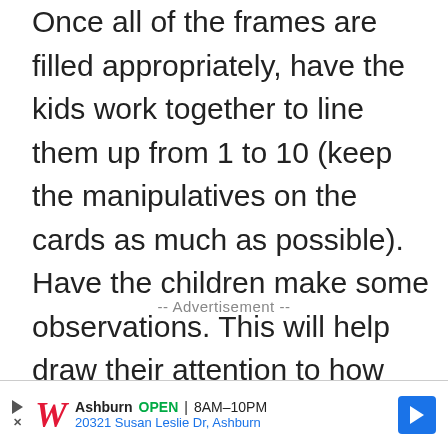Once all of the frames are filled appropriately, have the kids work together to line them up from 1 to 10 (keep the manipulatives on the cards as much as possible). Have the children make some observations. This will help draw their attention to how the amounts change with each number.
-- Advertisement --
[Figure (other): Walgreens advertisement banner showing store location in Ashburn, OPEN 8AM-10PM, address 20321 Susan Leslie Dr, Ashburn, with Walgreens W logo and navigation arrow icon]